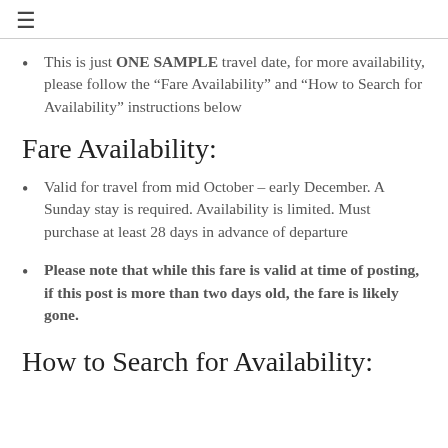≡
This is just ONE SAMPLE travel date, for more availability, please follow the “Fare Availability” and “How to Search for Availability” instructions below
Fare Availability:
Valid for travel from mid October – early December. A Sunday stay is required. Availability is limited. Must purchase at least 28 days in advance of departure
Please note that while this fare is valid at time of posting, if this post is more than two days old, the fare is likely gone.
How to Search for Availability: